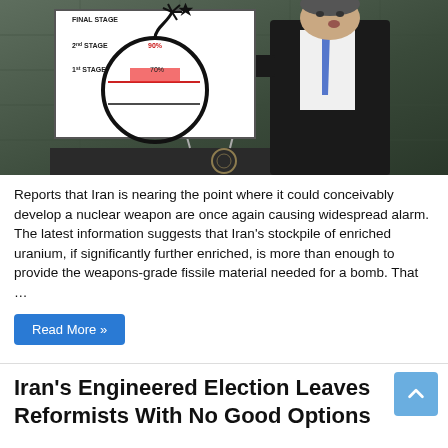[Figure (photo): A man in a dark suit holding up a white diagram of a bomb with stages labeled: Final Stage, 2nd Stage (90%), 1st Stage (70%), at what appears to be the United Nations General Assembly.]
Reports that Iran is nearing the point where it could conceivably develop a nuclear weapon are once again causing widespread alarm. The latest information suggests that Iran's stockpile of enriched uranium, if significantly further enriched, is more than enough to provide the weapons-grade fissile material needed for a bomb. That …
Read More »
Iran's Engineered Election Leaves Reformists With No Good Options